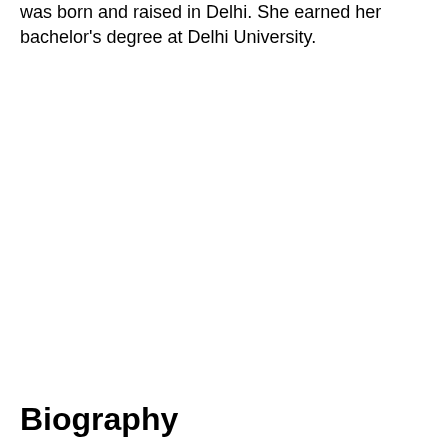was born and raised in Delhi. She earned her bachelor's degree at Delhi University.
Biography